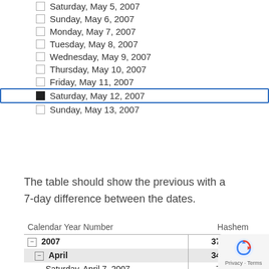Saturday, May 5, 2007
Sunday, May 6, 2007
Monday, May 7, 2007
Tuesday, May 8, 2007
Wednesday, May 9, 2007
Thursday, May 10, 2007
Friday, May 11, 2007
Saturday, May 12, 2007 (selected)
Sunday, May 13, 2007
The table should show the previous with a 7-day difference between the dates.
| Calendar Year Number | Hashem |
| --- | --- |
| — 2007 | 37,391.98 |
|   — April | 34,401.67 |
| Saturday, April 7, 2007 | 7,510.00 |
| Saturday, April 14, 2007 | 6,015.98 |
| Saturday, April 21, 2007 | 13,370.25 |
| Saturday, April 28, 2007 | 7,505.45 |